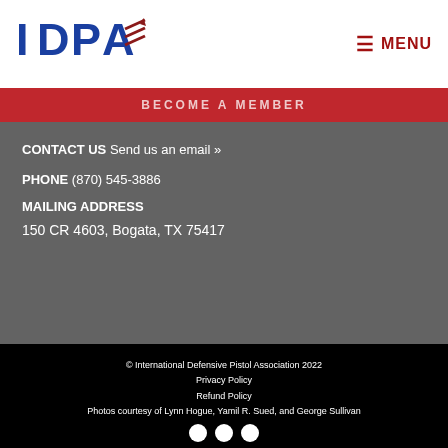[Figure (logo): IDPA logo with blue and dark red text and wing/chevron graphic]
≡ MENU
BECOME A MEMBER
CONTACT US Send us an email »
PHONE (870) 545-3886
MAILING ADDRESS
150 CR 4603, Bogata, TX 75417
© International Defensive Pistol Association 2022
Privacy Policy
Refund Policy
Photos courtesy of Lynn Hogue, Yamil R. Sued, and George Sullivan